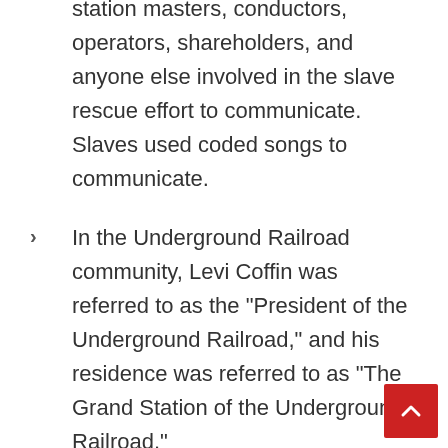station masters, conductors, operators, shareholders, and anyone else involved in the slave rescue effort to communicate. Slaves used coded songs to communicate.
In the Underground Railroad community, Levi Coffin was referred to as the “President of the Underground Railroad,” and his residence was referred to as “The Grand Station of the Underground Railroad.”
The University of Rochester’s history dates back to the 1780s, and the